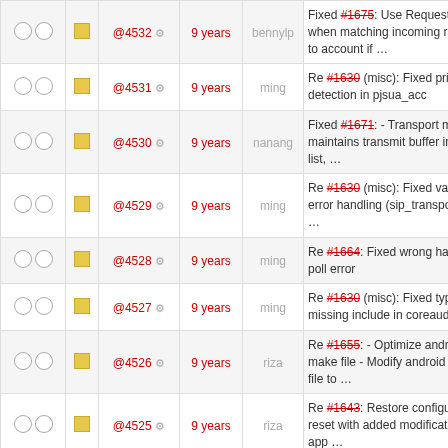|  |  | Rev | Age | Author | Message |
| --- | --- | --- | --- | --- | --- |
| ○ ○ | □ | @4532 ⚙ | 9 years | bennylp | Fixed #1675: Use Request URI when matching incoming request to account if … |
| ○ ○ | □ | @4531 ⚙ | 9 years | ming | Re #1630 (misc): Fixed private ip detection in pjsua_acc |
| ○ ○ | □ | @4530 ⚙ | 9 years | nanang | Fixed #1671: - Transport manager maintains transmit buffer instance list, … |
| ○ ○ | □ | @4529 ⚙ | 9 years | ming | Re #1630 (misc): Fixed various error handling (sip_transport.c and … |
| ○ ○ | □ | @4528 ⚙ | 9 years | ming | Re #1664: Fixed wrong handling of poll error |
| ○ ○ | □ | @4527 ⚙ | 9 years | ming | Re #1630 (misc): Fixed typo and missing include in coreaudio dev |
| ○ ○ | □ | @4526 ⚙ | 9 years | riza | Re #1655: - Optimize android make file - Modify android project file to … |
| ○ ○ | □ | @4525 ⚙ | 9 years | riza | Re #1643: Restore configuration reset with added modification on app … |
| ○ ○ | □ | @4524 ⚙ | 9 years | nanang | Fixed #1670: - Added 'no_rtcp_sdes_bye' to 'pjsua_media_config'. - … |
| ○ ○ | □ | @4523 ⚙ | 9 years | nanang | Fix #1669: When (account/global) proxy setting is changed, unregister and … |
| ○ ○ | □ | @4522 ⚙ | 9 years | riza | Re #1643: - Fix duplicate shortcut for video commands - Fix restart … |
| ○ ○ | □ |  |  |  | Fixed #1667: Handle incoming… |